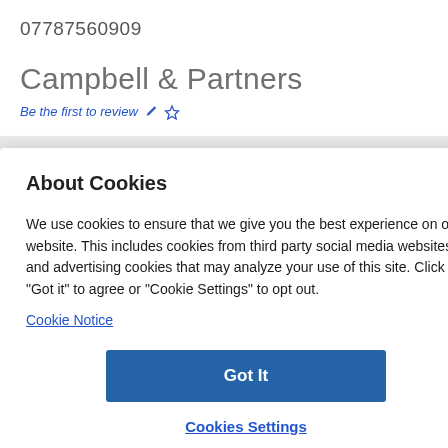07787560909
Campbell & Partners
Be the first to review ✏️☆
About Cookies
We use cookies to ensure that we give you the best experience on our website. This includes cookies from third party social media websites and advertising cookies that may analyze your use of this site. Click "Got it" to agree or "Cookie Settings" to opt out.
Cookie Notice
Got It
Cookies Settings